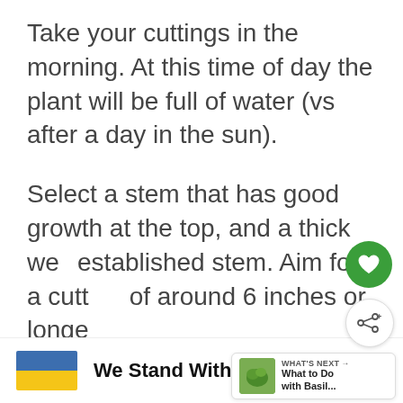Take your cuttings in the morning. At this time of day the plant will be full of water (vs after a day in the sun).
Select a stem that has good growth at the top, and a thick well established stem. Aim for a cutting of around 6 inches or longer.
[Figure (other): Green circular heart/favorite button overlay]
[Figure (other): White circular share button overlay with share icon and plus sign]
[Figure (other): What's Next panel showing thumbnail of basil plant with label 'WHAT'S NEXT' and title 'What to Do with Basil...']
[Figure (other): Advertisement banner: Ukraine flag image with text 'We Stand With You' and media brand logo]